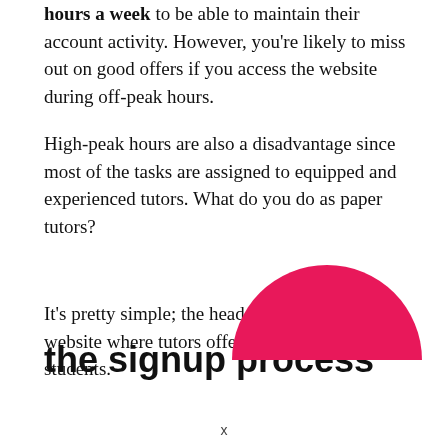hours a week to be able to maintain their account activity. However, you're likely to miss out on good offers if you access the website during off-peak hours.
High-peak hours are also a disadvantage since most of the tasks are assigned to equipped and experienced tutors. What do you do as paper tutors?
It's pretty simple; the header says it all—a website where tutors offer their services to students.
the signup process
[Figure (illustration): A pink/crimson semicircle decorative element overlapping with the section header text at the bottom right of the page]
x